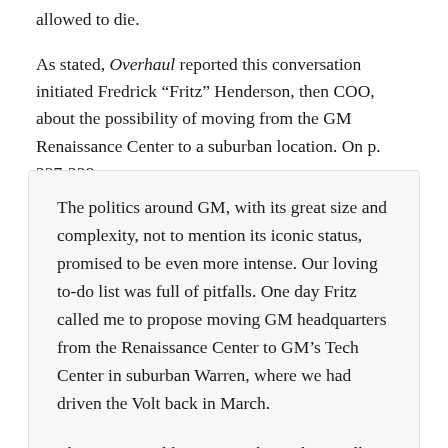allowed to die.
As stated, Overhaul reported this conversation initiated Fredrick “Fritz” Henderson, then COO, about the possibility of moving from the GM Renaissance Center to a suburban location. On p. 237-238:
The politics around GM, with its great size and complexity, not to mention its iconic status, promised to be even more intense. Our loving to-do list was full of pitfalls. One day Fritz called me to propose moving GM headquarters from the Renaissance Center to GM’s Tech Center in suburban Warren, where we had driven the Volt back in March.
The move would cuts costs, he said, as well as symbolize the leadership’s determination to become